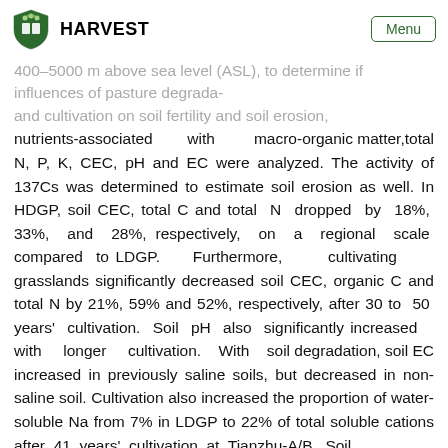HARVEST | Menu
400–5000 m above sea level (ASL), to determine if and cultivation on soil fertility and soil erosion, nutrients-associated with macro-organic matter,total N, P, K, CEC, pH and EC were analyzed. The activity of 137Cs was determined to estimate soil erosion as well. In HDGP, soil CEC, total C and total N dropped by 18%, 33%, and 28%, respectively, on a regional scale compared to LDGP. Furthermore, cultivating grasslands significantly decreased soil CEC, organic C and total N by 21%, 59% and 52%, respectively, after 30 to 50 years' cultivation. Soil pH also significantly increased with longer cultivation. With soil degradation, soil EC increased in previously saline soils, but decreased in non-saline soil. Cultivation also increased the proportion of water-soluble Na from 7% in LDGP to 22% of total soluble cations after 41 years' cultivation at Tianzhu-A/B. Soil